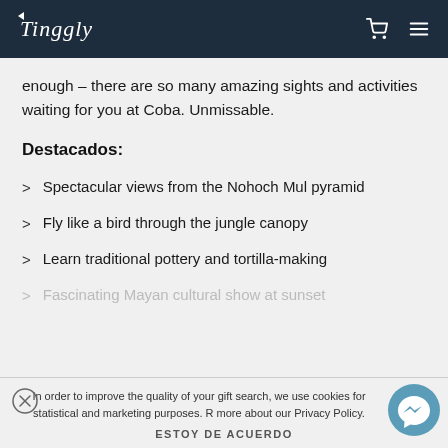Tinggly
enough - there are so many amazing sights and activities waiting for you at Coba. Unmissable.
Destacados:
Spectacular views from the Nohoch Mul pyramid
Fly like a bird through the jungle canopy
Learn traditional pottery and tortilla-making
Fascinating Mayan cultural show at sunset
In order to improve the quality of your gift search, we use cookies for statistical and marketing purposes. R... more about our Privacy Policy.
ESTOY DE ACUERDO